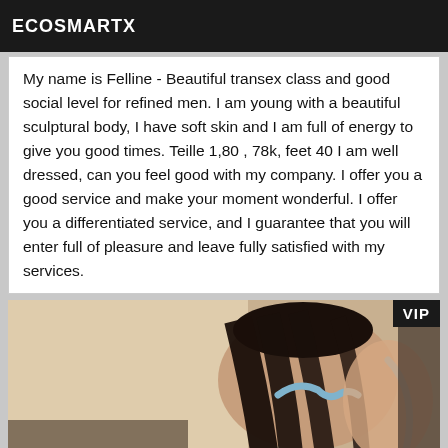ECOSMARTX
My name is Felline - Beautiful transex class and good social level for refined men. I am young with a beautiful sculptural body, I have soft skin and I am full of energy to give you good times. Teille 1,80 , 78k, feet 40 I am well dressed, can you feel good with my company. I offer you a good service and make your moment wonderful. I offer you a differentiated service, and I guarantee that you will enter full of pleasure and leave fully satisfied with my services.
[Figure (photo): Photo of a person with dark hair, seen from behind, wearing a light blue garment, lying on a bed. A 'VIP' badge is shown in the top-right corner of the image.]